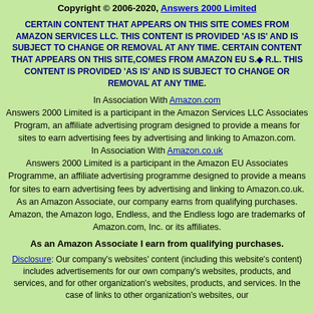Copyright © 2006-2020, Answers 2000 Limited
CERTAIN CONTENT THAT APPEARS ON THIS SITE COMES FROM AMAZON SERVICES LLC. THIS CONTENT IS PROVIDED 'AS IS' AND IS SUBJECT TO CHANGE OR REMOVAL AT ANY TIME. CERTAIN CONTENT THAT APPEARS ON THIS SITE,COMES FROM AMAZON EU S.◆ r.l. THIS CONTENT IS PROVIDED 'AS IS' AND IS SUBJECT TO CHANGE OR REMOVAL AT ANY TIME.
In Association With Amazon.com
Answers 2000 Limited is a participant in the Amazon Services LLC Associates Program, an affiliate advertising program designed to provide a means for sites to earn advertising fees by advertising and linking to Amazon.com.
In Association With Amazon.co.uk
Answers 2000 Limited is a participant in the Amazon EU Associates Programme, an affiliate advertising programme designed to provide a means for sites to earn advertising fees by advertising and linking to Amazon.co.uk.
As an Amazon Associate, our company earns from qualifying purchases. Amazon, the Amazon logo, Endless, and the Endless logo are trademarks of Amazon.com, Inc. or its affiliates.
As an Amazon Associate I earn from qualifying purchases.
Disclosure: Our company's websites' content (including this website's content) includes advertisements for our own company's websites, products, and services, and for other organization's websites, products, and services. In the case of links to other organization's websites, our